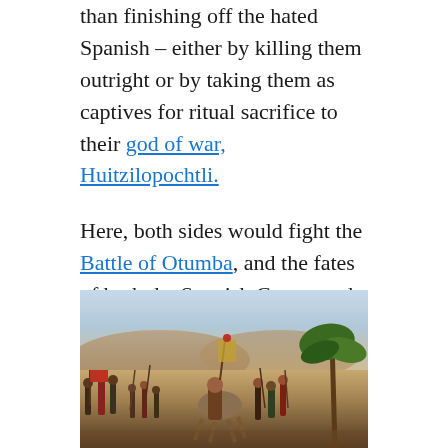than finishing off the hated Spanish – either by killing them outright or by taking them as captives for ritual sacrifice to their god of war, Huitzilopochtli.
Here, both sides would fight the Battle of Otumba, and the fates of both the Spanish Crown and the Aztec Empire were in the balance.
[Figure (illustration): Historical painting depicting the Battle of Otumba, showing Spanish conquistadors and Aztec warriors in close combat. A central figure on horseback holds a standard aloft. Palm trees are visible on the right. The background shows arid hills and a pale blue sky.]